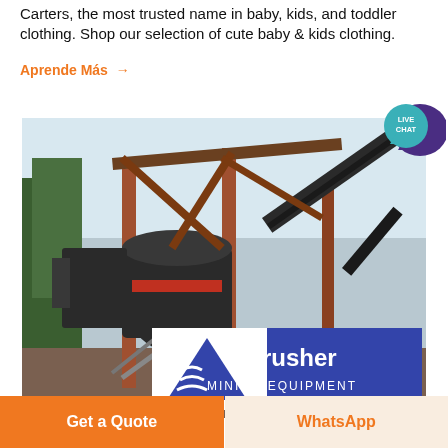Carters, the most trusted name in baby, kids, and toddler clothing. Shop our selection of cute baby & kids clothing.
Aprende Más →
[Figure (photo): Mining equipment machinery at a quarry or mining site with orange steel frame structure, conveyor belts, crusher machinery, and trees in background. An ACrusher Mining Equipment logo overlay is visible at the bottom center.]
[Figure (illustration): Live Chat speech bubble icon in teal/dark purple color in top right corner]
Get a Quote
WhatsApp